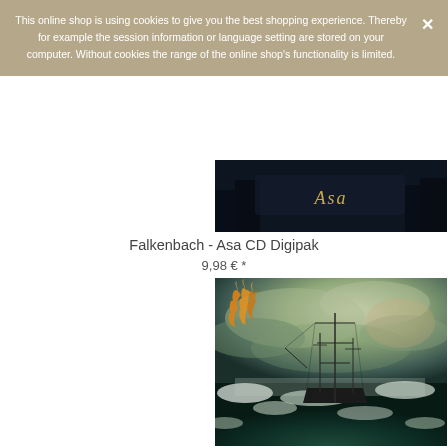This online shop is using cookies to give you the best shopping experience. Thereby for example the session information or language setting are stored on your computer. Without cookies the range of the online shop's functionality is limited.
Falkenbach - Asa CD Digipak
9,98 € *
[Figure (photo): Partial top of album cover showing dark atmospheric scene with 'Asa' text in gothic font]
[Figure (photo): Album cover for Eis showing a tall sailing ship being tossed in stormy green-grey seas with orange gothic band logo in upper left]